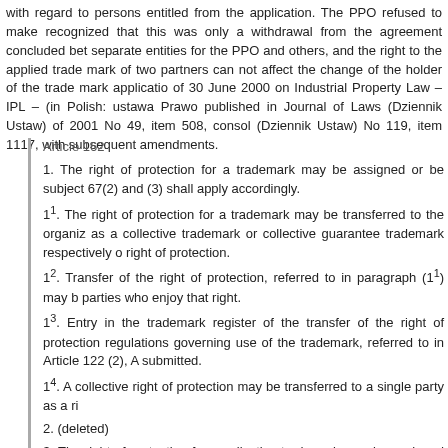with regard to persons entitled from the application. The PPO refused to make recognized that this was only a withdrawal from the agreement concluded bet separate entities for the PPO and others, and the right to the applied trade mark of two partners can not affect the change of the holder of the trade mark applicatio of 30 June 2000 on Industrial Property Law – IPL – (in Polish: ustawa Prawo published in Journal of Laws (Dziennik Ustaw) of 2001 No 49, item 508, consol (Dziennik Ustaw) No 119, item 1117, with subsequent amendments.
Article 162
1. The right of protection for a trademark may be assigned or be subject 67(2) and (3) shall apply accordingly.
1^1. The right of protection for a trademark may be transferred to the organiz as a collective trademark or collective guarantee trademark respectively o right of protection.
1^2. Transfer of the right of protection, referred to in paragraph (1^1) may b parties who enjoy that right.
1^3. Entry in the trademark register of the transfer of the right of protection regulations governing use of the trademark, referred to in Article 122 (2), A submitted.
1^4. A collective right of protection may be transferred to a single party as a ri
2. (deleted)
3. The right of protection for a collective trademark may be assigned as a jo grouped in the organisation referred to in Article 136. The contract of assign the use of such trademark to the extent to which it is practised in respe 122(2).
3^1. A collective right of protection may be transferred to the organizations collective trademark or a collective guarantee mark. A contract for the tran